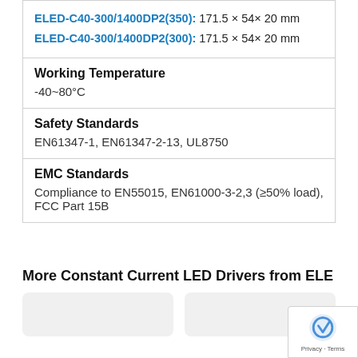ELED-C40-300/1400DP2(350): 171.5 × 54× 20 mm
ELED-C40-300/1400DP2(300): 171.5 × 54× 20 mm
Working Temperature
-40~80°C
Safety Standards
EN61347-1, EN61347-2-13, UL8750
EMC Standards
Compliance to EN55015, EN61000-3-2,3 (≥50% load), FCC Part 15B
More Constant Current LED Drivers from ELE